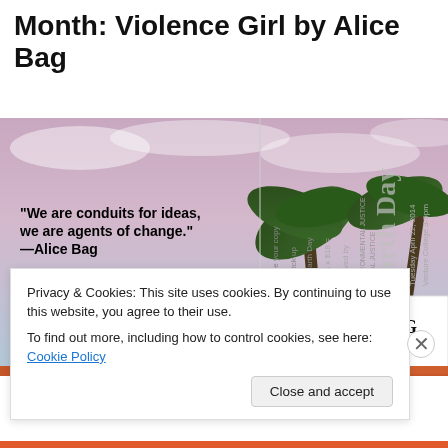Month: Violence Girl by Alice Bag
[Figure (photo): Promotional image for Violence Girl by Alice Bag. Left half shows a flyer with palm trees and clouds background, bold text reading: 'We are conduits for ideas, we are agents of change.' —Alice Bag, with cursive 'I reserved my copy!' and 'SOCIAL JUSTICE ENVIRONMENTAL JUSTICE'. Right half shows vertical rotated event text about reserving a copy, Earth Day, April 22 2014, Venture College 3-9pm, and a book cover thumbnail.]
Privacy & Cookies: This site uses cookies. By continuing to use this website, you agree to their use.
To find out more, including how to control cookies, see here: Cookie Policy
Close and accept